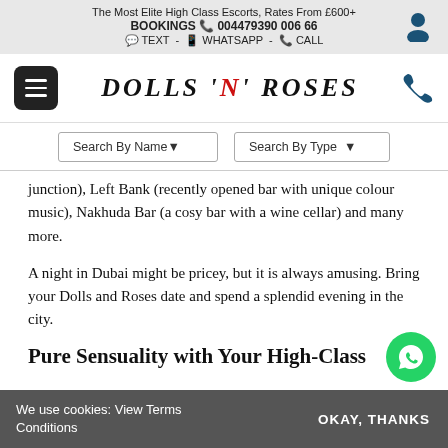The Most Elite High Class Escorts, Rates From £600+
BOOKINGS 004479390 006 66
TEXT - WHATSAPP - CALL
[Figure (logo): Dolls N Roses logo with hamburger menu icon and phone icon]
[Figure (screenshot): Search By Name and Search By Type dropdown controls]
junction), Left Bank (recently opened bar with unique colour music), Nakhuda Bar (a cosy bar with a wine cellar) and many more.
A night in Dubai might be pricey, but it is always amusing. Bring your Dolls and Roses date and spend a splendid evening in the city.
Pure Sensuality with Your High-Class
We use cookies: View Terms Conditions   OKAY, THANKS